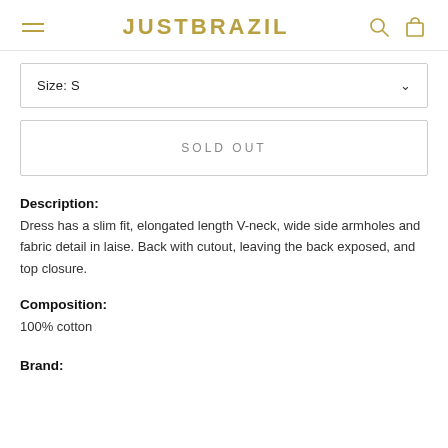JUSTBRAZIL
Size: S
SOLD OUT
Description:
Dress has a slim fit, elongated length V-neck, wide side armholes and fabric detail in laise. Back with cutout, leaving the back exposed, and top closure.
Composition:
100% cotton
Brand: